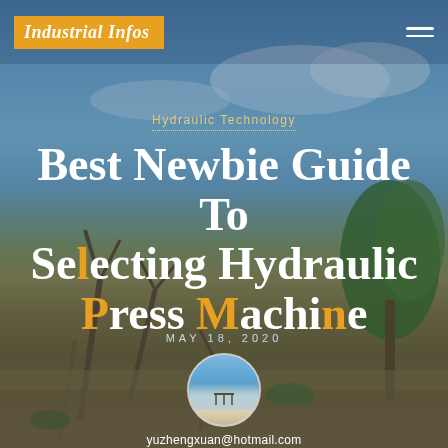Industrial Infos
[Figure (photo): Outdoor landscape background showing a tropical beach/coastal scene with blue sky and plants/shrubs in foreground and brown soil ground]
Hydraulic Technology
Best Newbie Guide To Selecting Hydraulic Press Machine
MAY 18, 2020
[Figure (photo): Circular avatar image showing a beach/pier scene with blue sky and water]
yuzhengxuan@hotmail.com